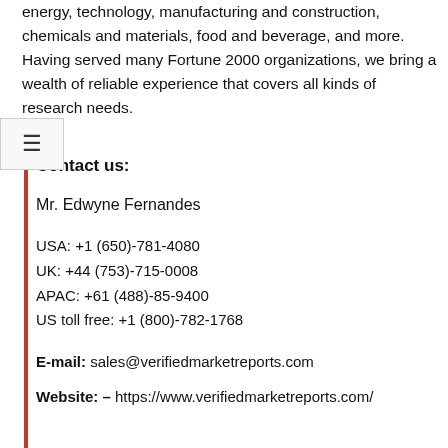energy, technology, manufacturing and construction, chemicals and materials, food and beverage, and more. Having served many Fortune 2000 organizations, we bring a wealth of reliable experience that covers all kinds of research needs.
Contact us:
Mr. Edwyne Fernandes
USA: +1 (650)-781-4080
UK: +44 (753)-715-0008
APAC: +61 (488)-85-9400
US toll free: +1 (800)-782-1768
E-mail: sales@verifiedmarketreports.com
Website: – https://www.verifiedmarketreports.com/